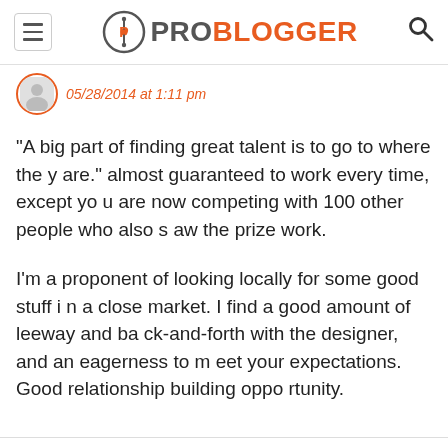ProBlogger
05/28/2014 at 1:11 pm
“A big part of finding great talent is to go to where they are.” almost guaranteed to work every time, except you are now competing with 100 other people who also saw the prize work.
I’m a proponent of looking locally for some good stuff in a close market. I find a good amount of leeway and back-and-forth with the designer, and an eagerness to meet your expectations. Good relationship building opportunity.